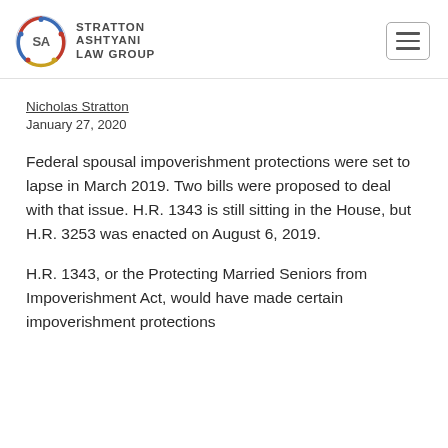Stratton Ashtyani Law Group
Nicholas Stratton
January 27, 2020
Federal spousal impoverishment protections were set to lapse in March 2019. Two bills were proposed to deal with that issue. H.R. 1343 is still sitting in the House, but H.R. 3253 was enacted on August 6, 2019.
H.R. 1343, or the Protecting Married Seniors from Impoverishment Act, would have made certain impoverishment protections